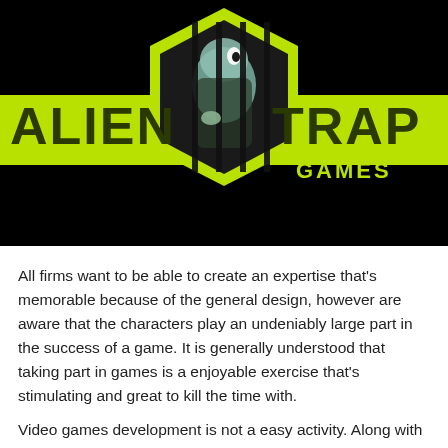[Figure (logo): Alien Trap Games logo: black background with bold yellow-green text 'ALIEN' on the left and 'TRAP' on the right, a hexagonal shield badge in the center containing a silhouetted alien figure behind bars, and 'GAMES' text below right.]
All firms want to be able to create an expertise that's memorable because of the general design, however are aware that the characters play an undeniably large part in the success of a game. It is generally understood that taking part in games is a enjoyable exercise that's stimulating and great to kill the time with.
Video games development is not a easy activity. Along with